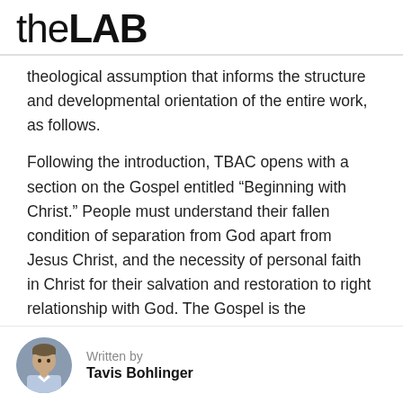theLAB
theological assumption that informs the structure and developmental orientation of the entire work, as follows.
Following the introduction, TBAC opens with a section on the Gospel entitled “Beginning with Christ.” People must understand their fallen condition of separation from God apart from Jesus Christ, and the necessity of personal faith in Christ for their salvation and restoration to right relationship with God. The Gospel is the necessary starting point for a life of conformity to Jesus Christ. Thus Question 16 of TBAC sums
Written by
Tavis Bohlinger